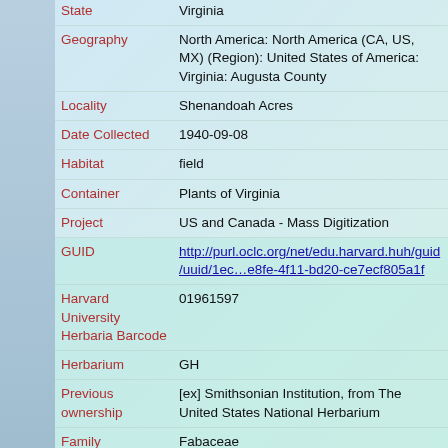| Field | Value |
| --- | --- |
| State | Virginia |
| Geography | North America: North America (CA, US, MX) (Region): United States of America: Virginia: Augusta County |
| Locality | Shenandoah Acres |
| Date Collected | 1940-09-08 |
| Habitat | field |
| Container | Plants of Virginia |
| Project | US and Canada - Mass Digitization |
| GUID | http://purl.oclc.org/net/edu.harvard.huh/guid/uuid/1ec…e8fe-4f11-bd20-ce7ecf805a1f |
| Harvard University Herbaria Barcode | 01961597 |
| Herbarium | GH |
| Previous ownership | [ex] Smithsonian Institution, from The United States National Herbarium |
| Family | Fabaceae |
| Determination | Desmodium marilandicum (Linnaeus) de Candolle |
| Determined by | Schubert, Bernice Giduz |
| Date | 1940 |